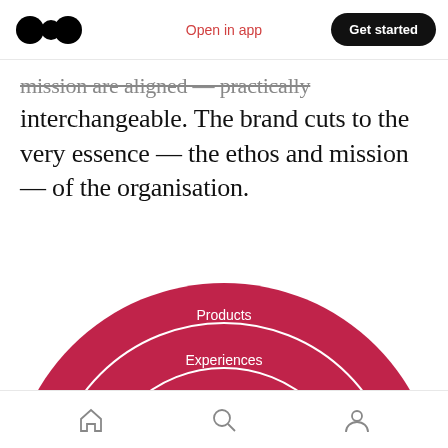Medium logo | Open in app | Get started
mission are aligned — practically interchangeable. The brand cuts to the very essence — the ethos and mission — of the organisation.
[Figure (infographic): Concentric circle diagram with 4 rings labeled from outer to inner: Products, Experiences, Stories, Mission. The circles are red/crimson colored with white borders between rings. The innermost 'Mission' circle is darker red with bold white text.]
Home | Search | Profile